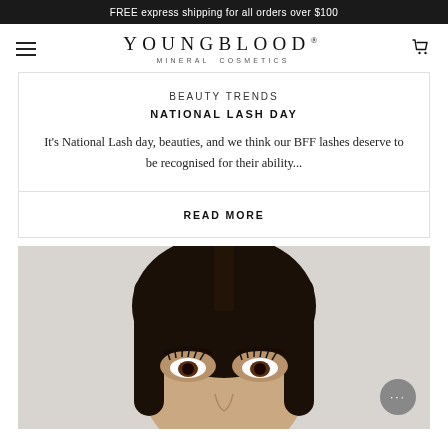FREE express shipping for all orders over $100
[Figure (logo): Youngblood Mineral Cosmetics logo with hamburger menu icon on left and cart icon on right]
BEAUTY TRENDS
NATIONAL LASH DAY
It's National Lash day, beauties, and we think our BFF lashes deserve to be recognised for their ability...
READ MORE
[Figure (photo): Close-up photo of a woman with dark hair, dramatic eye makeup and long lashes, light grey background. A grey chat bubble with ellipsis is visible in the bottom right.]